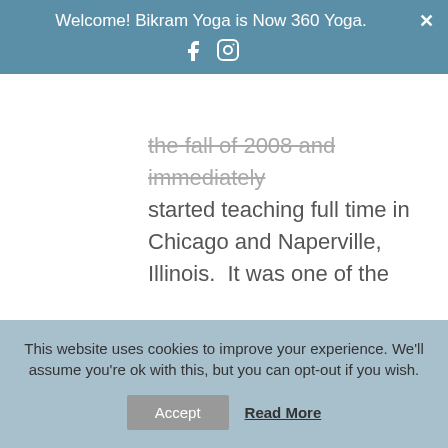Welcome! Bikram Yoga is Now 360 Yoga.
the fall of 2008 and immediately started teaching full time in Chicago and Naperville, Illinois.  It was one of the most rewarding decisions she ever made.  Aylin was later trained in Hatha Yoga, Ashtanga, prenatal and Power Yoga.  Although Aylin branched out to other styles of yoga, her true love is Bikram Yoga.  She firmly believes that the series of 26 postures and 2 breathing exercises provides
This website uses cookies to improve your experience. We'll assume you're ok with this, but you can opt-out if you wish.